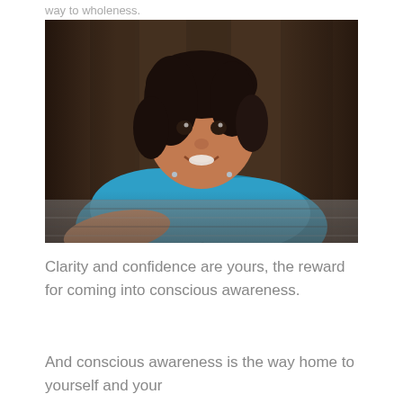way to wholeness.
[Figure (photo): A young indigenous girl smiling, wearing a blue fleece top, leaning on her arms on a patterned blanket, photographed against a wooden background.]
Clarity and confidence are yours, the reward for coming into conscious awareness.
And conscious awareness is the way home to yourself and your